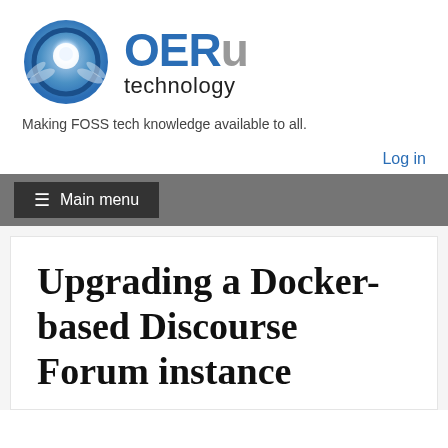[Figure (logo): OERu technology logo with circular blue/white icon and bold text 'OERu' (blue and grey) with 'technology' beneath]
Making FOSS tech knowledge available to all.
Log in
≡ Main menu
Upgrading a Docker-based Discourse Forum instance